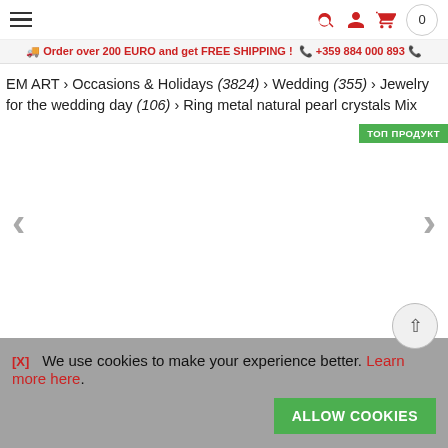EM ART navigation bar with hamburger menu, search, account, cart icons and 0 count
Order over 200 EURO and get FREE SHIPPING ! +359 884 000 893
EM ART › Occasions & Holidays (3824) › Wedding (355) › Jewelry for the wedding day (106) › Ring metal natural pearl crystals Mix
[Figure (other): Product image carousel area with left and right navigation arrows, currently empty/white, with a TOP PRODUCT badge in the top right corner]
[X] We use cookies to make your experience better. Learn more here.
ALLOW COOKIES